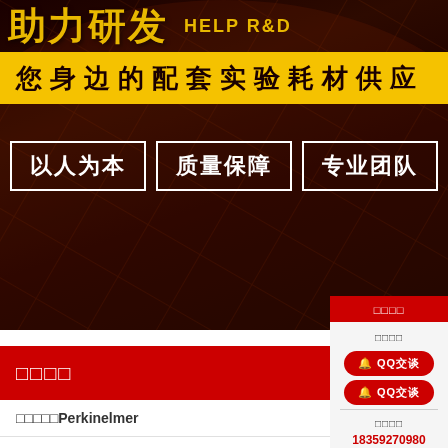助力研发 HELP R&D
您身边的配套实验耗材供应
以人为本 质量保障 专业团队
□□□□
□□□□□Perkinelmer
□□PE□□□
□□□□
□□□□
QQ交谈
QQ交谈
□□□□
18359270980